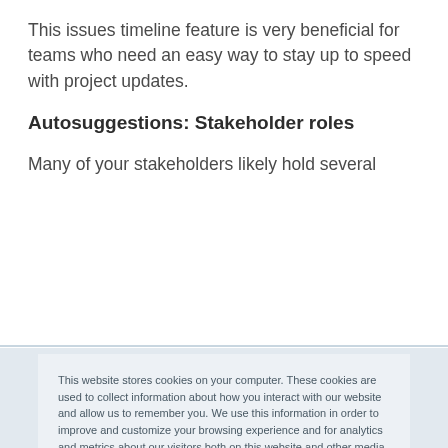This issues timeline feature is very beneficial for teams who need an easy way to stay up to speed with project updates.
Autosuggestions: Stakeholder roles
Many of your stakeholders likely hold several
This website stores cookies on your computer. These cookies are used to collect information about how you interact with our website and allow us to remember you. We use this information in order to improve and customize your browsing experience and for analytics and metrics about our visitors both on this website and other media. To find out more about the cookies we use, see our Privacy Policy.

If you decline, your information won't be tracked when you visit this website. A single cookie will be used in your browser to remember your preference not to be tracked.
Accept
Decline